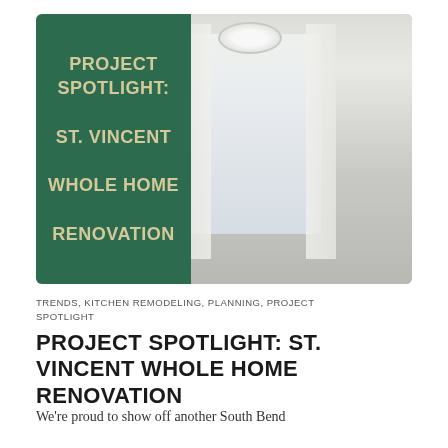[Figure (photo): Hero image composite: left half is a dark green panel with bold cream uppercase text reading 'PROJECT SPOTLIGHT: ST. VINCENT WHOLE HOME RENOVATION'; right half shows an interior room photo with an arched doorway, white sheer curtains, hardwood floors, and elegant furniture]
TRENDS, KITCHEN REMODELING, PLANNING, PROJECT SPOTLIGHT
PROJECT SPOTLIGHT: ST. VINCENT WHOLE HOME RENOVATION
We're proud to show off another South Bend